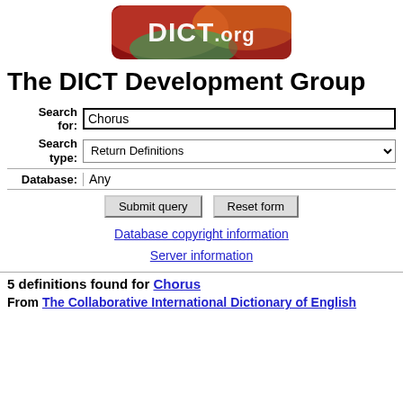[Figure (logo): DICT.org logo with colorful abstract background and white text reading DICT.ORG]
The DICT Development Group
Search for: Chorus
Search type: Return Definitions
Database: Any
Submit query | Reset form
Database copyright information
Server information
5 definitions found for Chorus
From The Collaborative International Dictionary of English